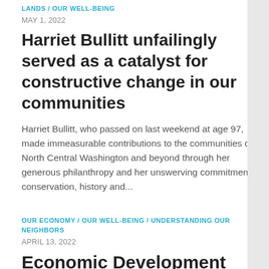LANDS / OUR WELL-BEING
MAY 1, 2022
Harriet Bullitt unfailingly served as a catalyst for constructive change in our communities
Harriet Bullitt, who passed on last weekend at age 97, made immeasurable contributions to the communities of North Central Washington and beyond through her generous philanthropy and her unswerving commitment to conservation, history and...
OUR ECONOMY / OUR WELL-BEING / UNDERSTANDING OUR NEIGHBORS
APRIL 13, 2022
Economic Development District earns